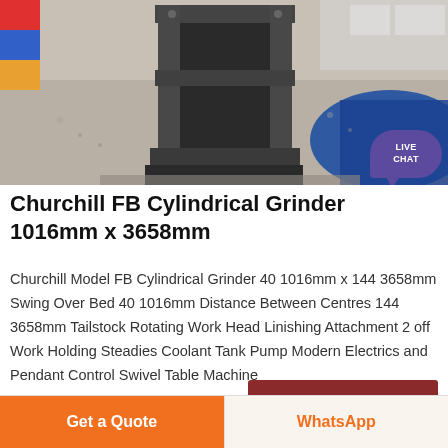[Figure (photo): Churchill Model FB Cylindrical Grinder machine shown in industrial setting with gravel/pellets on floor, blue curved structures in background]
Churchill FB Cylindrical Grinder 1016mm x 3658mm
Churchill Model FB Cylindrical Grinder 40 1016mm x 144 3658mm Swing Over Bed 40 1016mm Distance Between Centres 144 3658mm Tailstock Rotating Work Head Linishing Attachment 2 off Work Holding Steadies Coolant Tank Pump Modern Electrics and Pendant Control Swivel Table Machine
Get Price
Get a Quote
WhatsApp